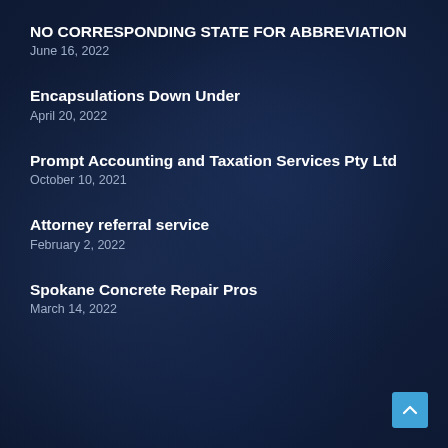NO CORRESPONDING STATE FOR ABBREVIATION
June 16, 2022
Encapsulations Down Under
April 20, 2022
Prompt Accounting and Taxation Services Pty Ltd
October 10, 2021
Attorney referral service
February 2, 2022
Spokane Concrete Repair Pros
March 14, 2022